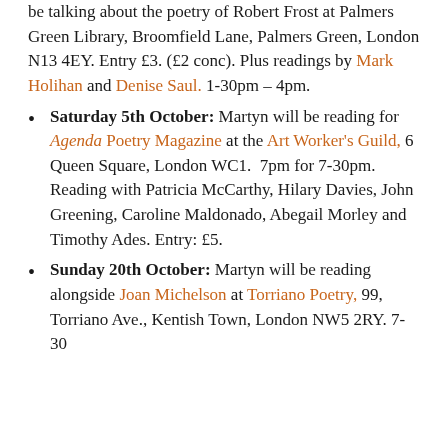be talking about the poetry of Robert Frost at Palmers Green Library, Broomfield Lane, Palmers Green, London N13 4EY. Entry £3. (£2 conc). Plus readings by Mark Holihan and Denise Saul. 1-30pm – 4pm.
Saturday 5th October: Martyn will be reading for Agenda Poetry Magazine at the Art Worker's Guild, 6 Queen Square, London WC1. 7pm for 7-30pm. Reading with Patricia McCarthy, Hilary Davies, John Greening, Caroline Maldonado, Abegail Morley and Timothy Ades. Entry: £5.
Sunday 20th October: Martyn will be reading alongside Joan Michelson at Torriano Poetry, 99, Torriano Ave., Kentish Town, London NW5 2RY. 7:30...